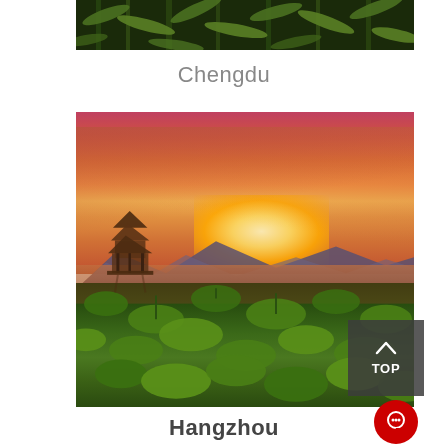[Figure (photo): Close-up photo of green bamboo leaves against dark background, partially cropped at top]
Chengdu
[Figure (photo): Sunset photo of West Lake in Hangzhou with a traditional Chinese pagoda on the left, mountains in the background, orange and red sky, and lotus leaves in the foreground]
Hangzhou